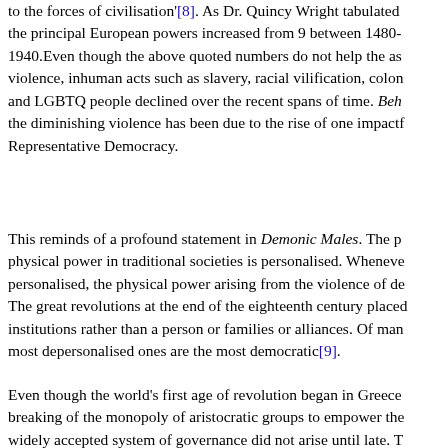to the forces of civilisation'[8]. As Dr. Quincy Wright tabulated the principal European powers increased from 9 between 1480-1940.Even though the above quoted numbers do not help the as violence, inhuman acts such as slavery, racial vilification, colon and LGBTQ people declined over the recent spans of time. Beh the diminishing violence has been due to the rise of one impactf Representative Democracy.
This reminds of a profound statement in Demonic Males. The p physical power in traditional societies is personalised. Wheneve personalised, the physical power arising from the violence of de The great revolutions at the end of the eighteenth century placed institutions rather than a person or families or alliances. Of man most depersonalised ones are the most democratic[9].
Even though the world's first age of revolution began in Greece breaking of the monopoly of aristocratic groups to empower the widely accepted system of governance did not arise until late. T should be considered as the period when the women were allow